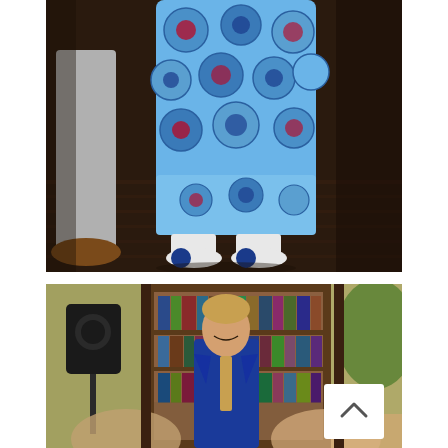[Figure (photo): Close-up photo from the torso down of a young child wearing a blue patterned outfit with circular designs in red, white, and blue, with white socks and blue-tipped shoes, standing on a dark hardwood floor. The lower legs of an adult wearing grey trousers and brown dress shoes are visible to the left.]
[Figure (photo): Indoor photo of a man wearing a royal blue suit with a patterned tie, standing and smiling in what appears to be a library or study room with bookshelves behind him. A black speaker on a stand is visible on the left. Other people are partially visible in the foreground. A white circular scroll-to-top button with an upward chevron is overlaid in the lower right area.]